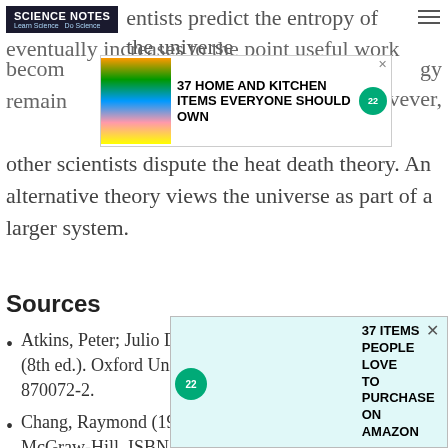SCIENCE NOTES — Learn Science Do Science
scientists predict the entropy of the universe eventually increases to the point useful work becomes [ad overlay] energy remains [ad overlay] however, other scientists dispute the heat death theory. An alternative theory views the universe as part of a larger system.
Sources
Atkins, Peter; Julio De Paula (2006). Physical Chemistry (8th ed.). Oxford University Press. ISBN 978-0-19-870072-2.
Chang, Raymond (1998). Chemistry (6th ed.). New York: McGraw-Hill. ISBN 978-[ad overlay]11[ad overlay]
Cla[ad overlay] Power of [ad overlay] de[ad overlay]